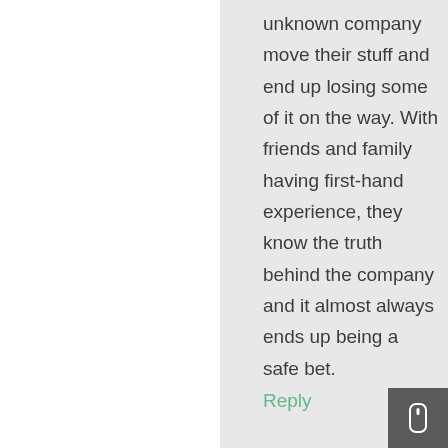unknown company move their stuff and end up losing some of it on the way. With friends and family having first-hand experience, they know the truth behind the company and it almost always ends up being a safe bet.
Reply